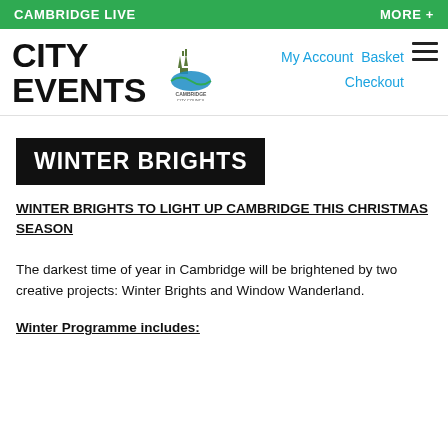CAMBRIDGE LIVE    MORE +
[Figure (logo): City Events logo with Cambridge City Council logo]
WINTER BRIGHTS
WINTER BRIGHTS TO LIGHT UP CAMBRIDGE THIS CHRISTMAS SEASON
The darkest time of year in Cambridge will be brightened by two creative projects: Winter Brights and Window Wanderland.
Winter Programme includes: